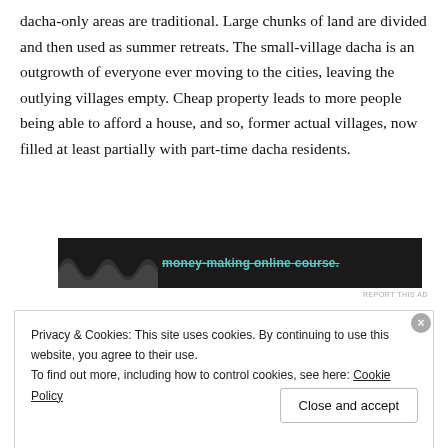dacha-only areas are traditional. Large chunks of land are divided and then used as summer retreats. The small-village dacha is an outgrowth of everyone ever moving to the cities, leaving the outlying villages empty. Cheap property leads to more people being able to afford a house, and so, former actual villages, now filled at least partially with part-time dacha residents.
[Figure (other): Dark advertisement banner with teal strikethrough text reading 'money-making online course.' with a wavy graphic on the left side.]
REPORT THIS AD
Privacy & Cookies: This site uses cookies. By continuing to use this website, you agree to their use.
To find out more, including how to control cookies, see here: Cookie Policy
Close and accept
[Figure (other): Second dark advertisement banner at the bottom of the page.]
REPORT THIS AD